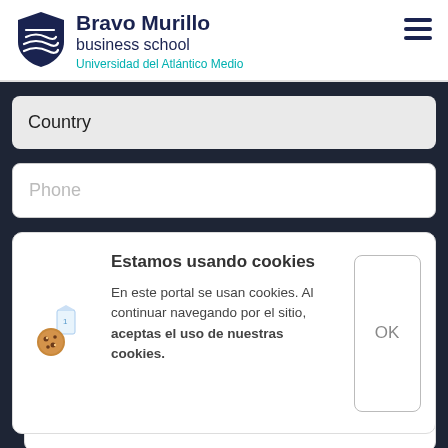[Figure (logo): Bravo Murillo Business School shield logo with wave lines]
Bravo Murillo business school
Universidad del Atlántico Medio
Country
Phone
Estamos usando cookies
En este portal se usan cookies. Al continuar navegando por el sitio, aceptas el uso de nuestras cookies.
OK